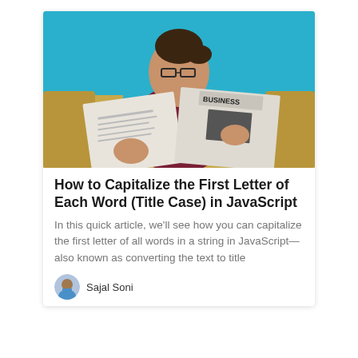[Figure (photo): Woman with glasses sitting on a yellow sofa reading a newspaper with 'BUSINESS' visible, against a teal/blue background]
How to Capitalize the First Letter of Each Word (Title Case) in JavaScript
In this quick article, we'll see how you can capitalize the first letter of all words in a string in JavaScript—also known as converting the text to title
Sajal Soni